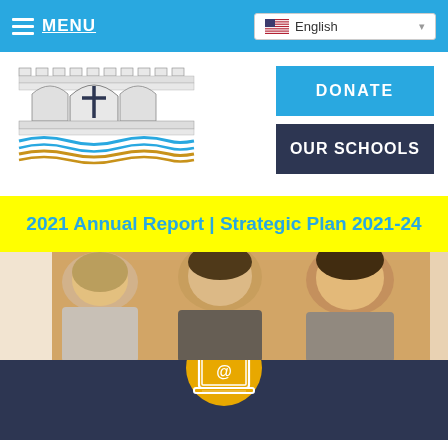MENU | English
[Figure (logo): School/diocese crest logo with archway, cross, and blue/gold waves]
DONATE
OUR SCHOOLS
2021 Annual Report | Strategic Plan 2021-24
[Figure (photo): Three smiling schoolgirls looking at each other in a classroom setting]
[Figure (illustration): Laptop with @ symbol icon in a gold circle on dark navy background]